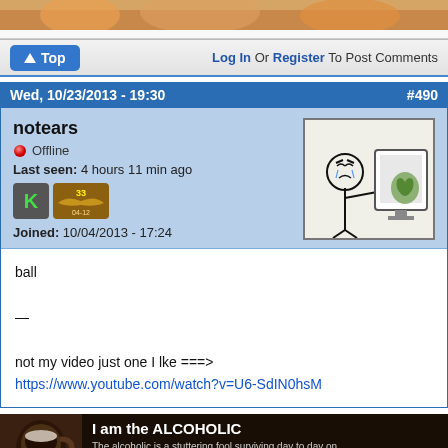[Figure (photo): Top partial image strip showing what appears to be food or snacks]
Top | Log In Or Register To Post Comments
Wed, 10/23/2013 - 19:30  #490
notears
Offline
Last seen: 4 hours 11 min ago
Joined: 10/04/2013 - 17:24
[Figure (illustration): Rage face meme stick figure comic — character angrily looking at a computer screen]
ball

—

not my video just one I lke ===>
https://www.youtube.com/watch?v=U6-SdIN0hsM
[Figure (photo): Bottom image showing a dark themed graphic with text: I am the ALCOHOLIC. The alcoholic is a stuttering fool surviving day to day on the chance that the other idiots he picks fights with will be...]